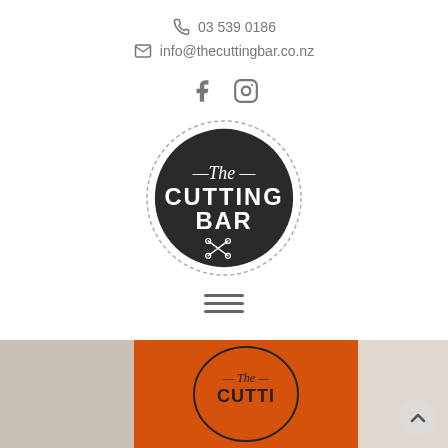03 539 0186
info@thecuttingbar.co.nz
[Figure (logo): The Cutting Bar logo — dark circular badge with dashed border, white italic 'The' text with dashes, bold 'CUTTING BAR' text, and scissors icon below]
[Figure (photo): Bottom strip photo showing orange branded card/book with The Cutting Bar logo oval, on a neutral background, with a back-to-top arrow button on the right]